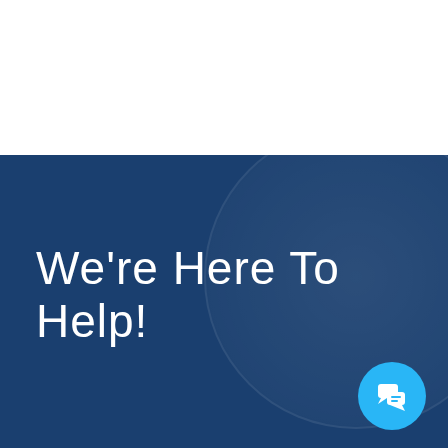[Figure (illustration): White top section and dark blue bottom section with decorative circle and chat icon]
We're Here To Help!